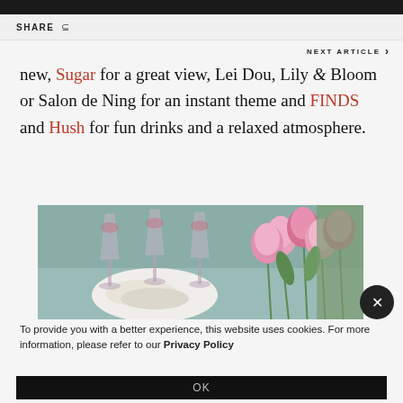SHARE
NEXT ARTICLE >
new, Sugar for a great view, Lei Dou, Lily & Bloom or Salon de Ning for an instant theme and FINDS and Hush for fun drinks and a relaxed atmosphere.
[Figure (photo): Flower arrangement with pink tulips and wine glasses on a table]
To provide you with a better experience, this website uses cookies. For more information, please refer to our Privacy Policy
OK